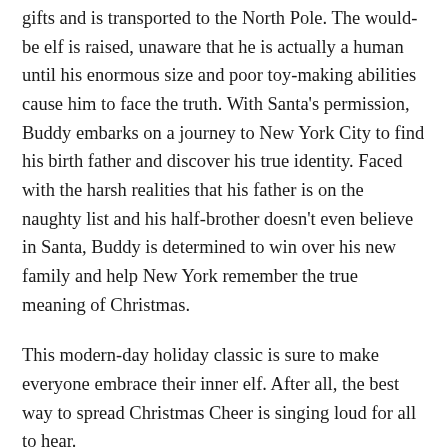gifts and is transported to the North Pole. The would-be elf is raised, unaware that he is actually a human until his enormous size and poor toy-making abilities cause him to face the truth. With Santa's permission, Buddy embarks on a journey to New York City to find his birth father and discover his true identity. Faced with the harsh realities that his father is on the naughty list and his half-brother doesn't even believe in Santa, Buddy is determined to win over his new family and help New York remember the true meaning of Christmas.
This modern-day holiday classic is sure to make everyone embrace their inner elf. After all, the best way to spread Christmas Cheer is singing loud for all to hear.
WCStudio at Uptown's annual Holiday Cheer Concert